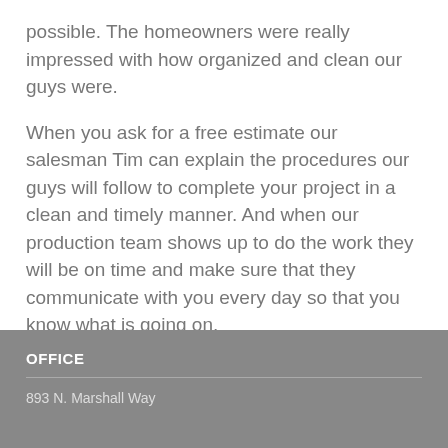possible. The homeowners were really impressed with how organized and clean our guys were.
When you ask for a free estimate our salesman Tim can explain the procedures our guys will follow to complete your project in a clean and timely manner. And when our production team shows up to do the work they will be on time and make sure that they communicate with you every day so that you know what is going on.
OFFICE
893 N. Marshall Way